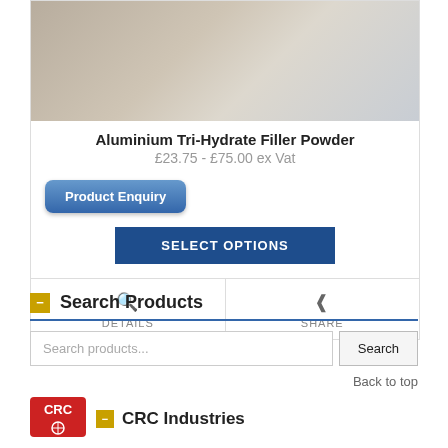[Figure (photo): Product image of Aluminium Tri-Hydrate Filler Powder, showing documents/papers on a surface]
Aluminium Tri-Hydrate Filler Powder
£23.75 - £75.00 ex Vat
Product Enquiry
SELECT OPTIONS
DETAILS
SHARE
Search Products
Search products...
Search
Back to top
[Figure (logo): CRC logo in red]
CRC Industries